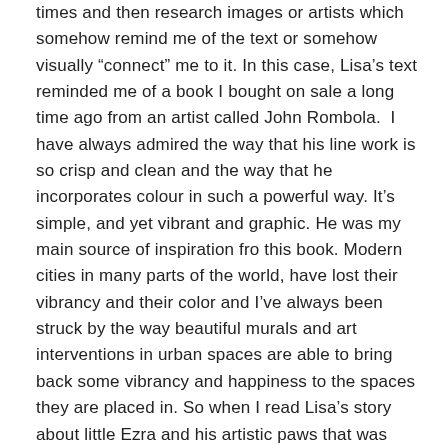times and then research images or artists which somehow remind me of the text or somehow visually “connect” me to it. In this case, Lisa’s text reminded me of a book I bought on sale a long time ago from an artist called John Rombola.  I have always admired the way that his line work is so crisp and clean and the way that he incorporates colour in such a powerful way. It’s simple, and yet vibrant and graphic. He was my main source of inspiration fro this book. Modern cities in many parts of the world, have lost their vibrancy and their color and I’ve always been struck by the way beautiful murals and art interventions in urban spaces are able to bring back some vibrancy and happiness to the spaces they are placed in. So when I read Lisa’s story about little Ezra and his artistic paws that was exactly what was brought into my mind.